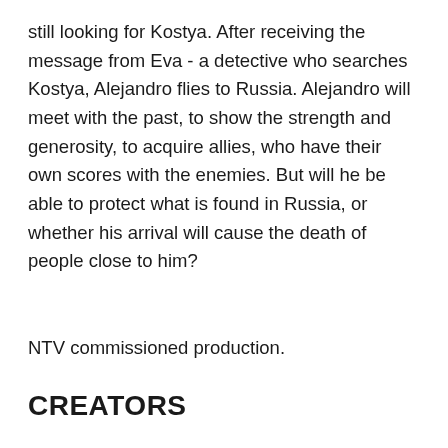still looking for Kostya. After receiving the message from Eva - a detective who searches Kostya, Alejandro flies to Russia. Alejandro will meet with the past, to show the strength and generosity, to acquire allies, who have their own scores with the enemies. But will he be able to protect what is found in Russia, or whether his arrival will cause the death of people close to him?
NTV commissioned production.
CREATORS